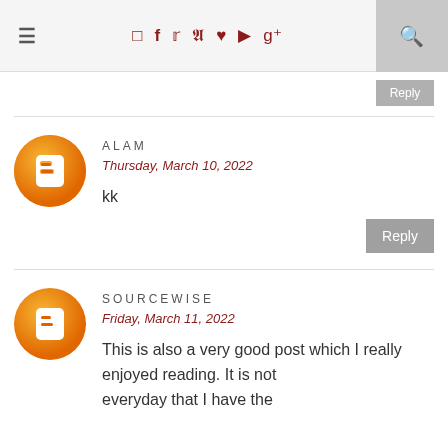Navigation bar with hamburger menu and social icons: Instagram, Facebook, Twitter, Pinterest, Heart, YouTube, Google+, and a search icon
ALAM
Thursday, March 10, 2022
kk
Reply
SOURCEWISE
Friday, March 11, 2022
This is also a very good post which I really enjoyed reading. It is not everyday that I have the